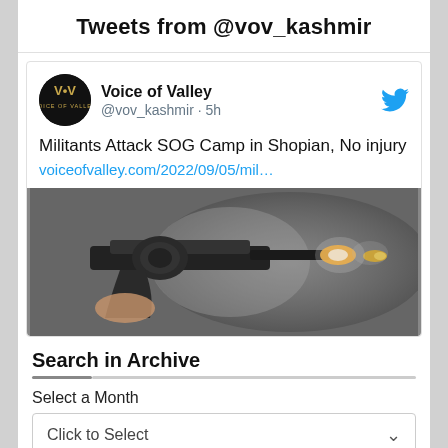Tweets from @vov_kashmir
Voice of Valley @vov_kashmir · 5h
Militants Attack SOG Camp in Shopian, No injury voiceofvalley.com/2022/09/05/mil…
[Figure (photo): Photo of a revolver handgun firing a bullet, with smoke in the background]
Search in Archive
Select a Month
Click to Select
Select a Category
Click to Select